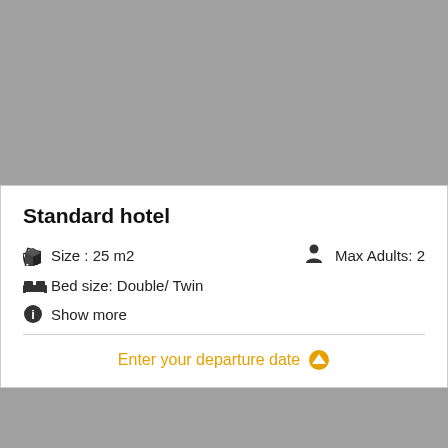[Figure (photo): Gray placeholder image for hotel room photo (top)]
Standard hotel
Size : 25 m2   Max Adults: 2
Bed size: Double/ Twin
Show more
Enter your departure date
[Figure (photo): Gray placeholder image for hotel room photo (bottom)]